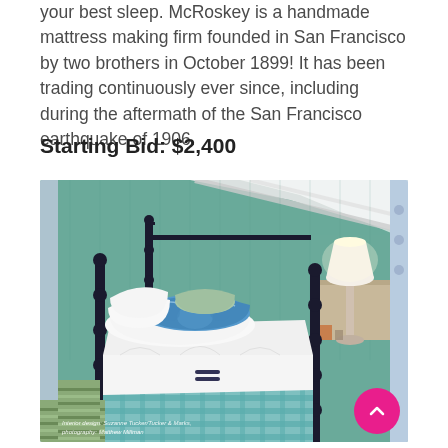your best sleep. McRoskey is a handmade mattress making firm founded in San Francisco by two brothers in October 1899! It has been trading continuously ever since, including during the aftermath of the San Francisco earthquake of 1906.
Starting Bid: $2,400
[Figure (photo): A stylish bedroom with a four-poster dark metal bed frame, white bedding, blue patterned pillows, a plaid bed skirt, teal/green grasscloth wallpaper, white table lamp, and striped green area rug. Interior design by Suzanne Tucker/Tucker & Marks, photography by Matthew Millman.]